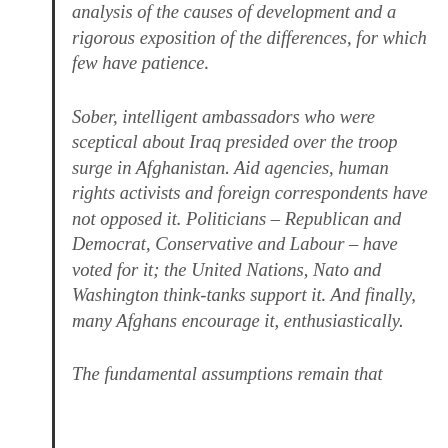analysis of the causes of development and a rigorous exposition of the differences, for which few have patience.
Sober, intelligent ambassadors who were sceptical about Iraq presided over the troop surge in Afghanistan. Aid agencies, human rights activists and foreign correspondents have not opposed it. Politicians – Republican and Democrat, Conservative and Labour – have voted for it; the United Nations, Nato and Washington think-tanks support it. And finally, many Afghans encourage it, enthusiastically.
The fundamental assumptions remain that